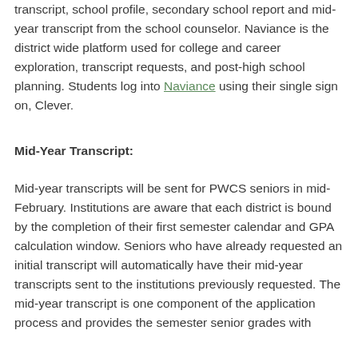transcript, school profile, secondary school report and mid-year transcript from the school counselor. Naviance is the district wide platform used for college and career exploration, transcript requests, and post-high school planning. Students log into Naviance using their single sign on, Clever.
Mid-Year Transcript:
Mid-year transcripts will be sent for PWCS seniors in mid-February. Institutions are aware that each district is bound by the completion of their first semester calendar and GPA calculation window. Seniors who have already requested an initial transcript will automatically have their mid-year transcripts sent to the institutions previously requested. The mid-year transcript is one component of the application process and provides the semester senior grades with